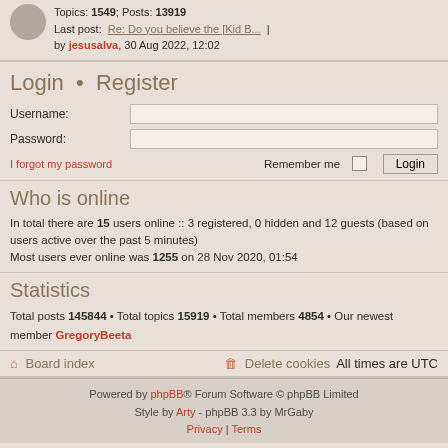Topics: 1549; Posts: 13919 Last post: Re: Do you believe the [Kid B... | by jesusalva, 30 Aug 2022, 12:02
Login • Register
Username:
Password:
I forgot my password   Remember me  Login
Who is online
In total there are 15 users online :: 3 registered, 0 hidden and 12 guests (based on users active over the past 5 minutes)
Most users ever online was 1255 on 28 Nov 2020, 01:54
Statistics
Total posts 145844 • Total topics 15919 • Total members 4854 • Our newest member GregoryBeeta
Board index   Delete cookies  All times are UTC
Powered by phpBB® Forum Software © phpBB Limited Style by Arty - phpBB 3.3 by MrGaby Privacy | Terms